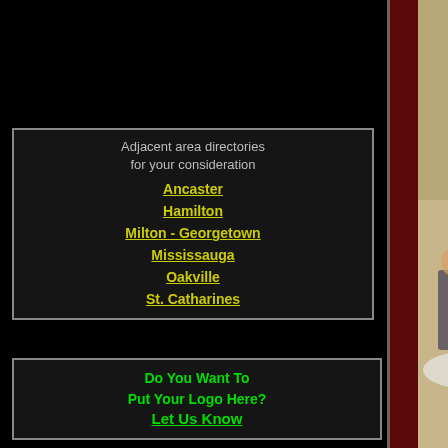Adjacent area directories for your consideration
Ancaster
Hamilton
Milton - Georgetown
Mississauga
Oakville
St. Catharines
[Figure (photo): Bagpiper in kilt playing bagpipes at a wedding reception indoors]
Steve Tur...
The Wedding...
Bagpipiper for we... funerals or any oth... 35 years experi... Able to travel any... I can help make... special day, a d... remember... 416-931-41...
Website
Piper Brian C. Hutchison
Brian is a fourth generation bagpiper. He has... over the years, always receiving excellent fe... Contact Brian to pipe at your special occasio...
E-Mail | P: 416-792-3824
Do You Want To Put Your Logo Here? Let Us Know